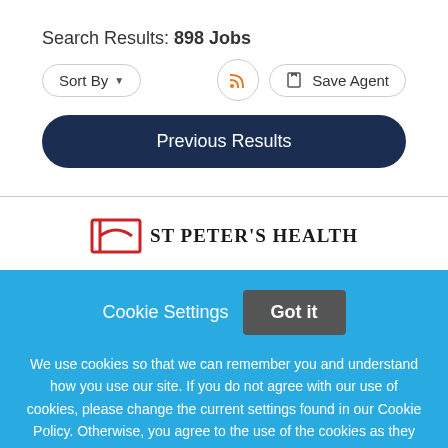Search Results: 898 Jobs
Sort By ▼
Save Agent
Previous Results
[Figure (logo): St Peter's Health logo with red square bracket icon and serif text]
Cookie Settings   Got it
We use cookies so that we can remember you and understand how you use our site. If you do not agree with our use of cookies, please change the current settings found in our Cookie Policy. Otherwise, you agree to the use of the cookies as they are currently set.